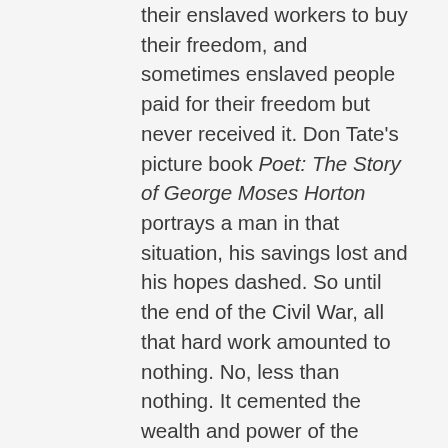their enslaved workers to buy their freedom, and sometimes enslaved people paid for their freedom but never received it. Don Tate's picture book Poet: The Story of George Moses Horton portrays a man in that situation, his savings lost and his hopes dashed. So until the end of the Civil War, all that hard work amounted to nothing. No, less than nothing. It cemented the wealth and power of the Southern white slavocracy, which quickly reasserted itself at the end of Reconstruction. The political